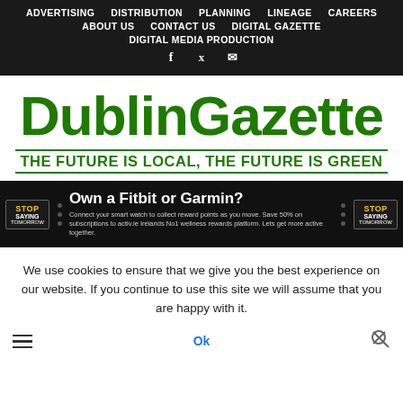ADVERTISING  DISTRIBUTION  PLANNING  LINEAGE  CAREERS  ABOUT US  CONTACT US  DIGITAL GAZETTE  DIGITAL MEDIA PRODUCTION
[Figure (logo): DublinGazette logo with tagline THE FUTURE IS LOCAL, THE FUTURE IS GREEN in green]
[Figure (infographic): Advertisement banner: Own a Fitbit or Garmin? Connect your smart watch to collect reward points as you move. Save 50% on subscriptions to activ.ie Irelands No1 wellness rewards platform. Lets get more active together.]
We use cookies to ensure that we give you the best experience on our website. If you continue to use this site we will assume that you are happy with it.
Ok